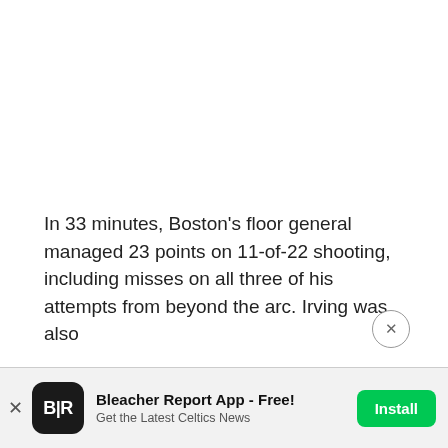In 33 minutes, Boston's floor general managed 23 points on 11-of-22 shooting, including misses on all three of his attempts from beyond the arc. Irving was also
[Figure (screenshot): App advertisement banner for Bleacher Report App with install button]